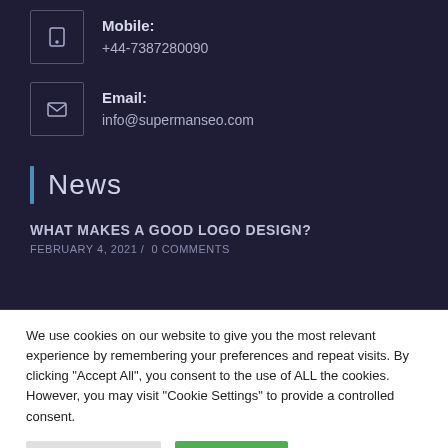Mobile: +44-7387280090
Email: info@supermanseo.com
News
WHAT MAKES A GOOD LOGO DESIGN?
FEBRUARY 4, 2021 / 0 COMMENTS
We use cookies on our website to give you the most relevant experience by remembering your preferences and repeat visits. By clicking "Accept All", you consent to the use of ALL the cookies. However, you may visit "Cookie Settings" to provide a controlled consent.